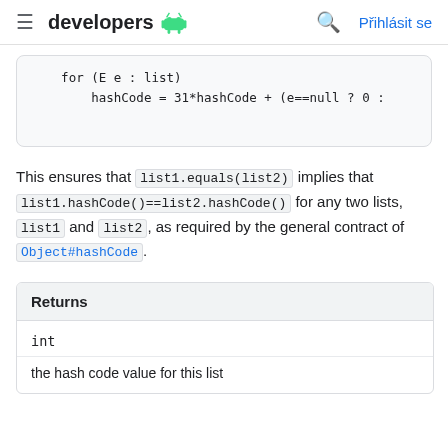developers  [Android logo]  [Search icon]  Přihlásit se
[Figure (screenshot): Code block showing: for (E e : list) hashCode = 31*hashCode + (e==null ? 0 :]
This ensures that list1.equals(list2) implies that list1.hashCode()==list2.hashCode() for any two lists, list1 and list2, as required by the general contract of Object#hashCode.
| Returns |
| --- |
| int |
| the hash code value for this list |